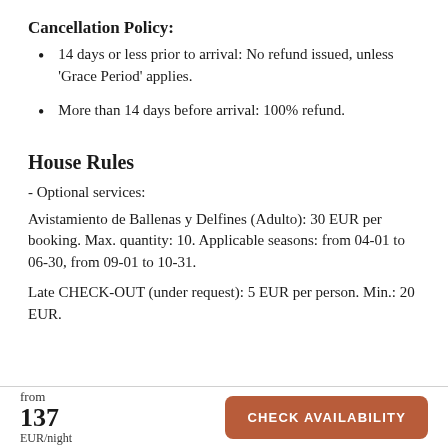Cancellation Policy:
14 days or less prior to arrival: No refund issued, unless 'Grace Period' applies.
More than 14 days before arrival: 100% refund.
House Rules
- Optional services:
Avistamiento de Ballenas y Delfines (Adulto): 30 EUR per booking. Max. quantity: 10. Applicable seasons: from 04-01 to 06-30, from 09-01 to 10-31.
Late CHECK-OUT (under request): 5 EUR per person. Min.: 20 EUR.
from
137
EUR/night
CHECK AVAILABILITY